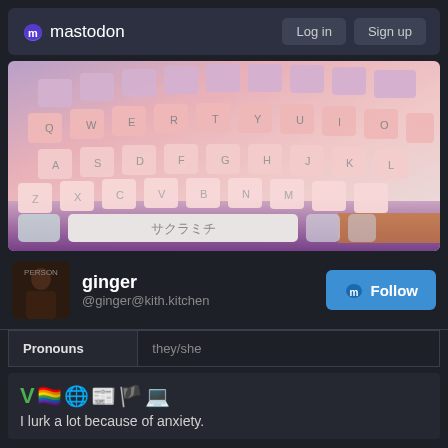mastodon  Log in  Sign up
[Figure (photo): Close-up photo of a pink and white mechanical keyboard with Japanese text on the spacebar reading サクラミチ, with keys fading from purple/lavender at top to white at bottom, on a purple surface]
ginger
@ginger@kith.kitchen
| Pronouns | they/she |
| --- | --- |
I lurk a lot because of anxiety.